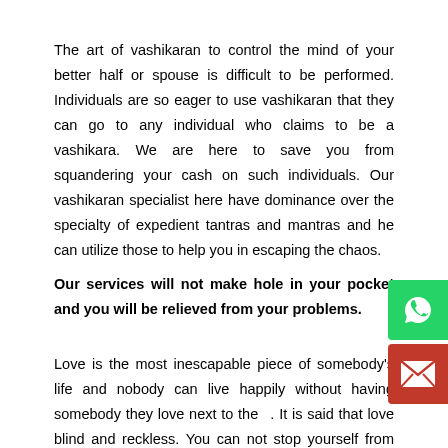The art of vashikaran to control the mind of your better half or spouse is difficult to be performed. Individuals are so eager to use vashikaran that they can go to any individual who claims to be a vashikara. We are here to save you from squandering your cash on such individuals. Our vashikaran specialist here have dominance over the specialty of expedient tantras and mantras and he can utilize those to help you in escaping the chaos.
Our services will not make hole in your pocket and you will be relieved from your problems.
Love is the most inescapable piece of somebody's life and nobody can live happily without having somebody they love next to them. It is said that love blind and reckless. You can not stop yourself from falling in love with somebody or you can't fall out affection with somebody whenever you need. Well falling in l...
[Figure (other): WhatsApp floating contact button (green background with WhatsApp logo)]
[Figure (other): Email floating contact button (red background with envelope icon)]